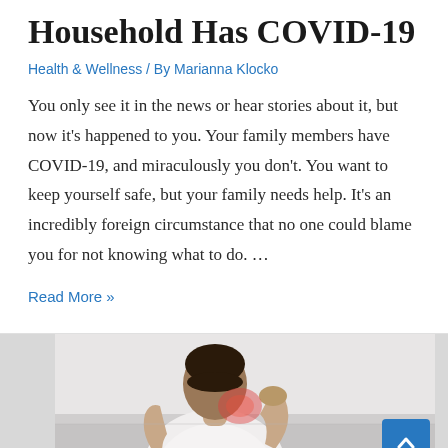What to Do When Your Household Has COVID-19
Health & Wellness / By Marianna Klocko
You only see it in the news or hear stories about it, but now it's happened to you. Your family members have COVID-19, and miraculously you don't. You want to keep yourself safe, but your family needs help. It's an incredibly foreign circumstance that no one could blame you for not knowing what to do. …
Read More »
[Figure (photo): A person holding the back of their neck/shoulder in pain, with a reddish highlight on the affected area, in a light-colored room background.]